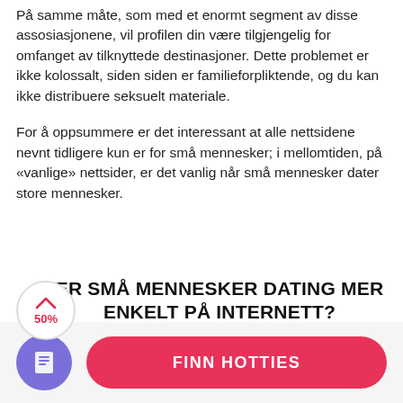På samme måte, som med et enormt segment av disse assosiasjonene, vil profilen din være tilgjengelig for omfanget av tilknyttede destinasjoner. Dette problemet er ikke kolossalt, siden siden er familieforpliktende, og du kan ikke distribuere seksuelt materiale.
For å oppsummere er det interessant at alle nettsidene nevnt tidligere kun er for små mennesker; i mellomtiden, på «vanlige» nettsider, er det vanlig når små mennesker dater store mennesker.
ER SMÅ MENNESKER DATING MER ENKELT PÅ INTERNETT?
[Figure (infographic): A circular scroll progress indicator showing 50% with a pink arc and up-chevron icon]
[Figure (infographic): A purple circle icon with a document/list symbol, and a pink rounded button labeled FINN HOTTIES]